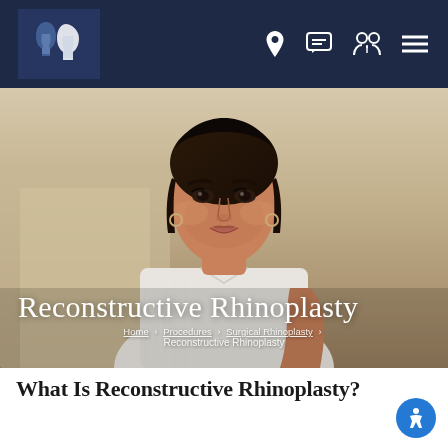[Figure (logo): Plastic surgery clinic logo with two face silhouettes in blue tones]
[Figure (photo): Young woman with dark hair in white ribbed top, posing against beige/cream wall background, serving as hero banner image]
Reconstructive Rhinoplasty
Home > Procedures > Surgical Rhinoplasty > Reconstructive Rhinoplasty
What Is Reconstructive Rhinoplasty?